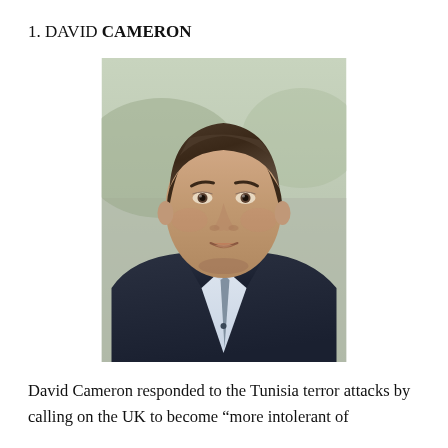1. DAVID CAMERON
[Figure (photo): Portrait photo of David Cameron, a middle-aged man with dark brown hair wearing a dark suit and light blue shirt, photographed outdoors with a blurred green background.]
David Cameron responded to the Tunisia terror attacks by calling on the UK to become “more intolerant of